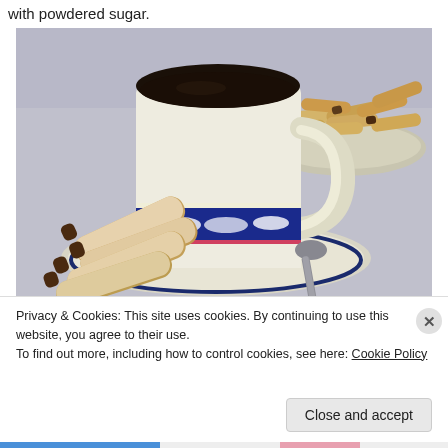with powdered sugar.
[Figure (photo): A coffee mug with a blue and white decorative band on a matching saucer, with a metal spoon. In the foreground are several finger-shaped cookies/pastries dusted with powdered sugar. In the background is a plate stacked with more rolled pastries with a dark filling.]
Privacy & Cookies: This site uses cookies. By continuing to use this website, you agree to their use.
To find out more, including how to control cookies, see here: Cookie Policy
Close and accept